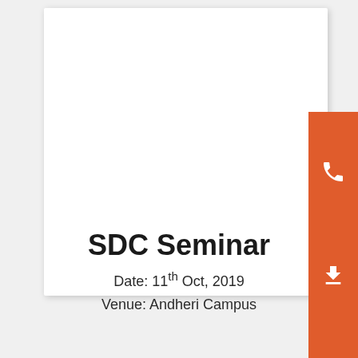[Figure (screenshot): White card with orange sidebar containing phone, download, and WhatsApp icons on the right edge of the page]
SDC Seminar
Date: 11th Oct, 2019
Venue: Andheri Campus